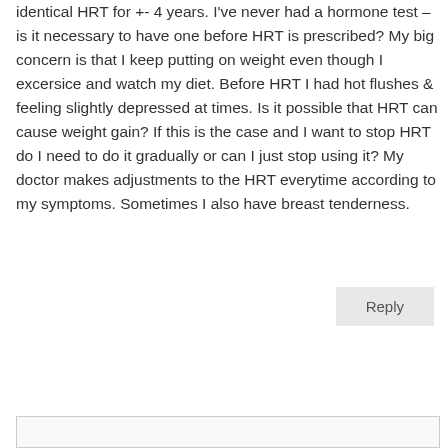identical HRT for +- 4 years. I've never had a hormone test – is it necessary to have one before HRT is prescribed? My big concern is that I keep putting on weight even though I excersice and watch my diet. Before HRT I had hot flushes & feeling slightly depressed at times. Is it possible that HRT can cause weight gain? If this is the case and I want to stop HRT do I need to do it gradually or can I just stop using it? My doctor makes adjustments to the HRT everytime according to my symptoms. Sometimes I also have breast tenderness.